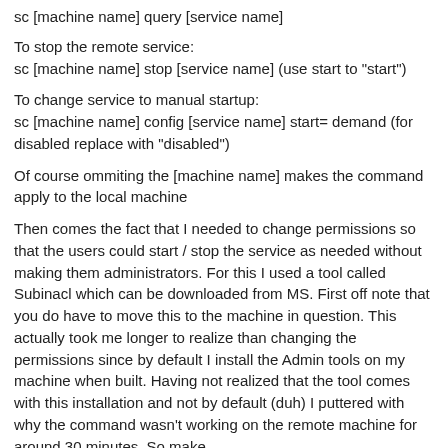sc [machine name] query [service name]
To stop the remote service:
sc [machine name] stop [service name] (use start to "start")
To change service to manual startup:
sc [machine name] config [service name] start= demand (for disabled replace with "disabled")
Of course ommiting the [machine name] makes the command apply to the local machine
Then comes the fact that I needed to change permissions so that the users could start / stop the service as needed without making them administrators. For this I used a tool called Subinacl which can be downloaded from MS. First off note that you do have to move this to the machine in question. This actually took me longer to realize than changing the permissions since by default I install the Admin tools on my machine when built. Having not realized that the tool comes with this installation and not by default (duh) I puttered with why the command wasn't working on the remote machine for around 30 minutes. So make